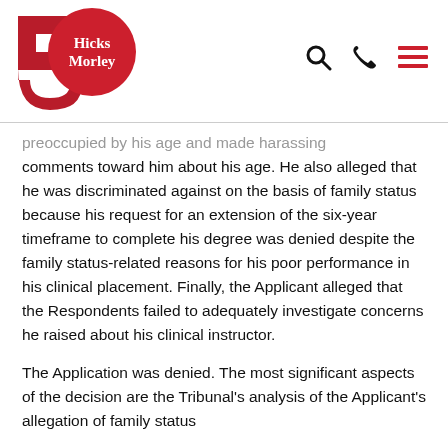Hicks Morley (logo with 50th anniversary mark)
preoccupied by his age and made harassing comments toward him about his age. He also alleged that he was discriminated against on the basis of family status because his request for an extension of the six-year timeframe to complete his degree was denied despite the family status-related reasons for his poor performance in his clinical placement. Finally, the Applicant alleged that the Respondents failed to adequately investigate concerns he raised about his clinical instructor.
The Application was denied. The most significant aspects of the decision are the Tribunal's analysis of the Applicant's allegation of family status